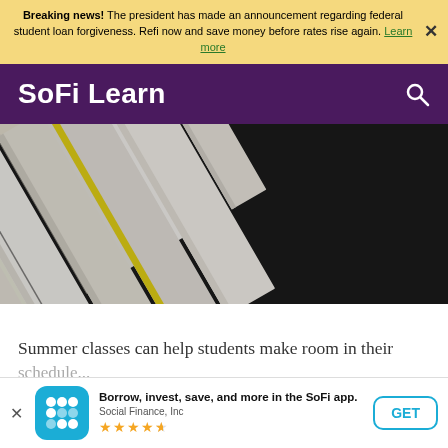Breaking news! The president has made an announcement regarding federal student loan forgiveness. Refi now and save money before rates rise again. Learn more
SoFi Learn
[Figure (photo): Close-up overhead view of stacked books with colorful spines (red, yellow, white, black) arranged diagonally]
Summer classes can help students make room in their schedule...
Borrow, invest, save, and more in the SoFi app. Social Finance, Inc ★★★★½ GET